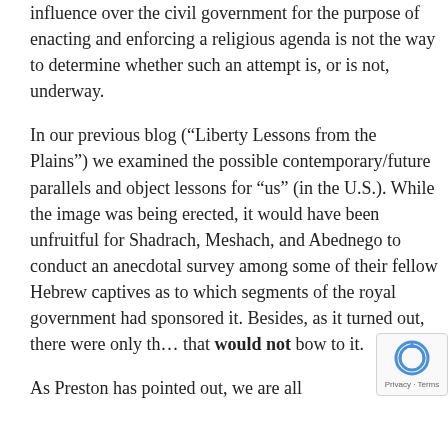influence over the civil government for the purpose of enacting and enforcing a religious agenda is not the way to determine whether such an attempt is, or is not, underway.
In our previous blog (“Liberty Lessons from the Plains”) we examined the possible contemporary/future parallels and object lessons for “us” (in the U.S.). While the image was being erected, it would have been unfruitful for Shadrach, Meshach, and Abednego to conduct an anecdotal survey among some of their fellow Hebrew captives as to which segments of the royal government had sponsored it. Besides, as it turned out, there were only th… that would not bow to it.
As Preston has pointed out, we are all